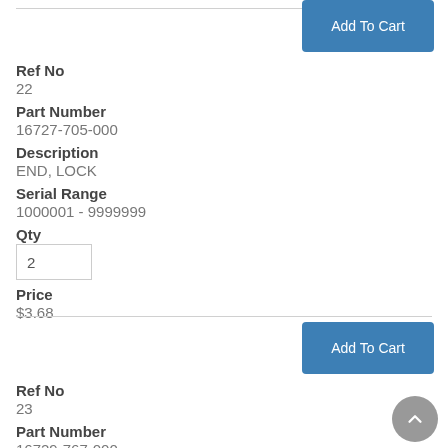Add To Cart
Ref No
22
Part Number
16727-705-000
Description
END, LOCK
Serial Range
1000001 - 9999999
Qty
2
Price
$3.68
Add To Cart
Ref No
23
Part Number
16729-767-000